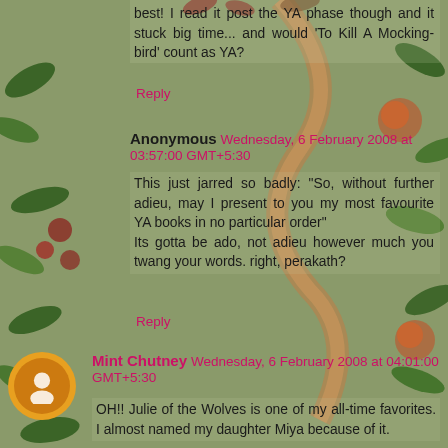best! I read it post the YA phase though and it stuck big time... and would 'To Kill A Mocking-bird' count as YA?
Reply
Anonymous Wednesday, 6 February 2008 at 03:57:00 GMT+5:30
This just jarred so badly: "So, without further adieu, may I present to you my most favourite YA books in no particular order"
Its gotta be ado, not adieu however much you twang your words. right, perakath?
Reply
Mint Chutney Wednesday, 6 February 2008 at 04:01:00 GMT+5:30
OH!! Julie of the Wolves is one of my all-time favorites. I almost named my daughter Miya because of it.